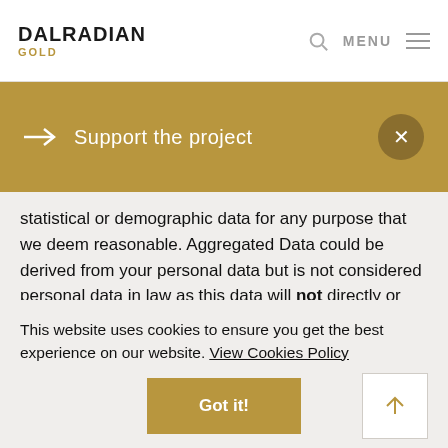DALRADIAN GOLD
→  Support the project  ×
statistical or demographic data for any purpose that we deem reasonable. Aggregated Data could be derived from your personal data but is not considered personal data in law as this data will NOT directly or indirectly reveal your identity. For
This website uses cookies to ensure you get the best experience on our website. View Cookies Policy
Got it!